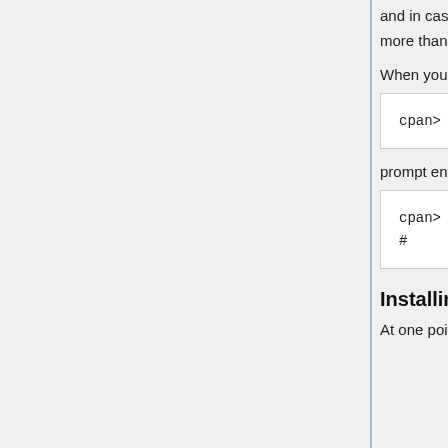and in case you are prompted accept all defaults by just hitting <Enter> . Note that with more than one module to install, we just list them after install separated by spaces.
When you again see the
cpan>
prompt enter
cpan> exit
#
Installing Additional Perl Modules from Source
At one point in time (August 2006), the